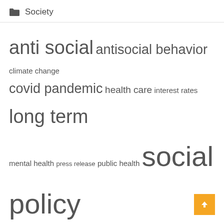Society
[Figure (other): Tag cloud with topics: anti social, antisocial behavior, climate change, covid pandemic, health care, interest rates, long term, mental health, press release, public health, social policy, social stratification, united states, vice president, young people]
Recent Posts
Guide on How to Take a Loan with No-Credit-Check Quickly
Mohali: Man dies after falling from 8th floor of housing corporation